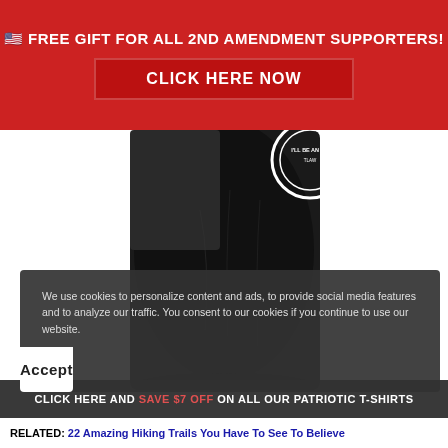🇺🇸 FREE GIFT FOR ALL 2ND AMENDMENT SUPPORTERS!
CLICK HERE NOW
[Figure (photo): Person wearing a black t-shirt with a circular logo/badge design visible on it, shot from neck down against white background]
CLICK HERE AND SAVE $7 OFF ON ALL OUR PATRIOTIC T-SHIRTS
We use cookies to personalize content and ads, to provide social media features and to analyze our traffic. You consent to our cookies if you continue to use our website.
Accept
RELATED: 22 Amazing Hiking Trails You Have To See To Believe